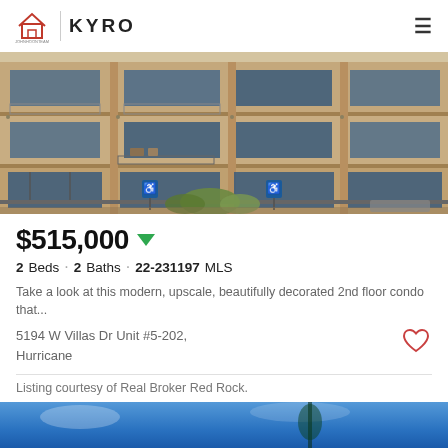JOHN HOON TEAM | KYRO
[Figure (photo): Exterior photo of a modern multi-story tan/beige stucco condominium building with balconies, large windows, and blue handicap parking signs in front]
$515,000
2 Beds · 2 Baths · 22-231197 MLS
Take a look at this modern, upscale, beautifully decorated 2nd floor condo that...
5194 W Villas Dr Unit #5-202, Hurricane
Listing courtesy of Real Broker Red Rock.
[Figure (photo): Partial view of outdoor scene with blue sky and what appears to be a tree or palm, cut off at bottom of page]